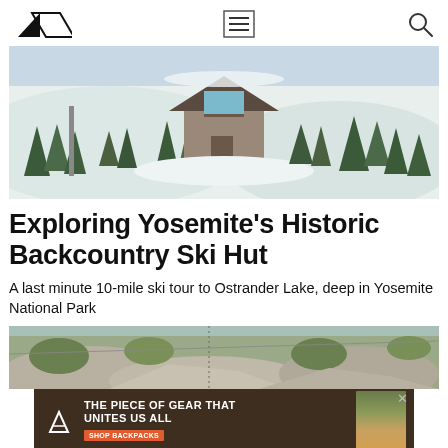Navigation bar with logo, hamburger menu, and search icon
[Figure (photo): A snow-covered backcountry ski hut (A-frame style) surrounded by conifer trees in a snowy mountain landscape at Ostrander Lake, Yosemite National Park]
Exploring Yosemite's Historic Backcountry Ski Hut
A last minute 10-mile ski tour to Ostrander Lake, deep in Yosemite National Park
[Figure (photo): Rocky mountain terrain with vegetation, partial view of a second outdoor scene]
[Figure (infographic): Advertisement banner: THE PIECE OF GEAR THAT UNITES US ALL — SHOP BACKPACKS button — with Hyperlite Mountain Gear logo and person wearing backpack]